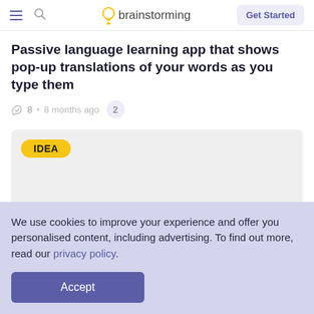brainstorming — Get Started
Passive language learning app that shows pop-up translations of your words as you type them
👍 8 • 8 months ago  2
[Figure (other): Gray card with yellow IDEA badge label]
We use cookies to improve your experience and offer you personalised content, including advertising. To find out more, read our privacy policy.
Accept